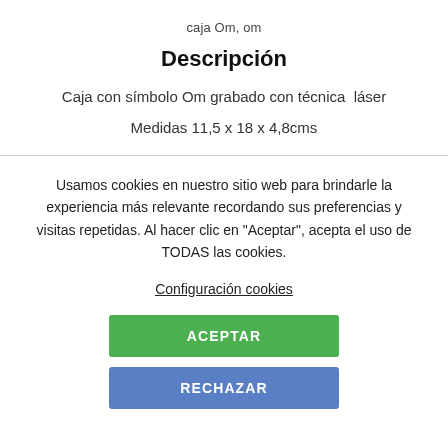caja Om, om
Descripción
Caja con símbolo Om grabado con técnica  láser
Medidas 11,5 x 18 x 4,8cms
Usamos cookies en nuestro sitio web para brindarle la experiencia más relevante recordando sus preferencias y visitas repetidas. Al hacer clic en "Aceptar", acepta el uso de TODAS las cookies.
Configuración cookies
ACEPTAR
RECHAZAR